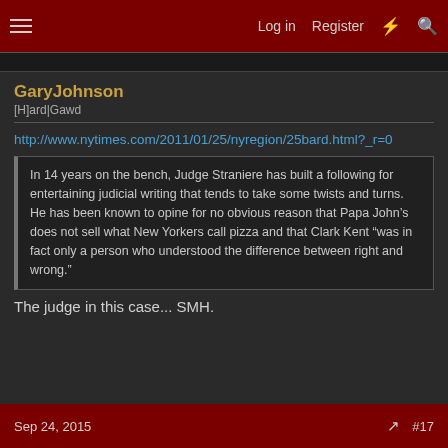Log in  Register  #17
GaryJohnson
[H]ard|Gawd
http://www.nytimes.com/2011/01/25/nyregion/25bard.html?_r=0
In 14 years on the bench, Judge Straniere has built a following for entertaining judicial writing that tends to take some twists and turns. He has been known to opine for no obvious reason that Papa John’s does not sell what New Yorkers call pizza and that Clark Kent “was in fact only a person who understood the difference between right and wrong.”
The judge in this case... SMH.
Sep 24, 2015  #17